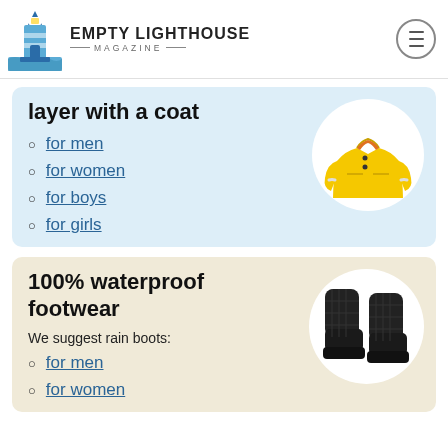Empty Lighthouse Magazine
layer with a coat
for men
for women
for boys
for girls
100% waterproof footwear
We suggest rain boots:
for men
for women